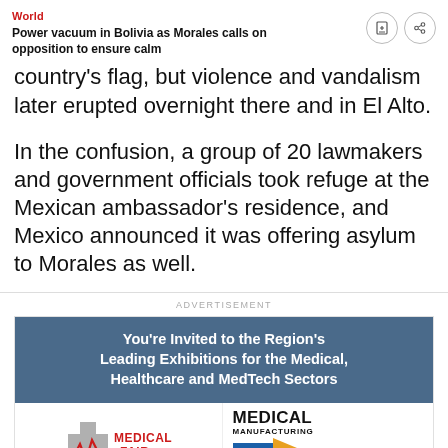World
Power vacuum in Bolivia as Morales calls on opposition to ensure calm
country's flag, but violence and vandalism later erupted overnight there and in El Alto.
In the confusion, a group of 20 lawmakers and government officials took refuge at the Mexican ambassador's residence, and Mexico announced it was offering asylum to Morales as well.
[Figure (infographic): Advertisement banner: You're Invited to the Region's Leading Exhibitions for the Medical, Healthcare and MedTech Sectors. Shows Medical Fair logo and Medical Manufacturing Asia logos.]